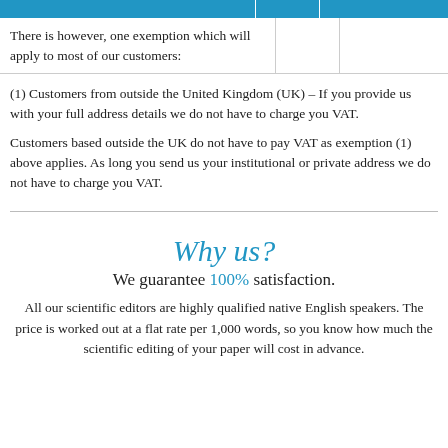There is however, one exemption which will apply to most of our customers:
(1) Customers from outside the United Kingdom (UK) – If you provide us with your full address details we do not have to charge you VAT.
Customers based outside the UK do not have to pay VAT as exemption (1) above applies. As long you send us your institutional or private address we do not have to charge you VAT.
Why us?
We guarantee 100% satisfaction.
All our scientific editors are highly qualified native English speakers. The price is worked out at a flat rate per 1,000 words, so you know how much the scientific editing of your paper will cost in advance.